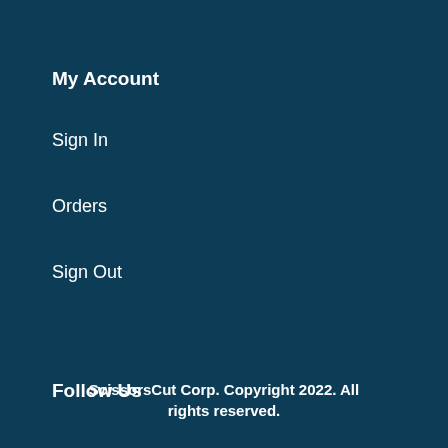My Account
Sign In
Orders
Sign Out
Follow Us
[Figure (other): Social media icons: Facebook, Instagram, LinkedIn]
ScissorsCut Corp. Copyright 2022. All rights reserved.